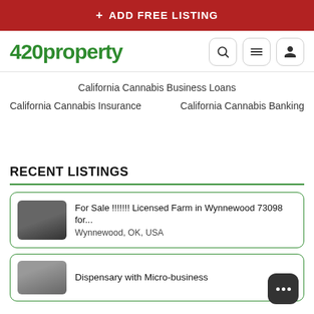+ ADD FREE LISTING
420property
California Cannabis Business Loans
California Cannabis Insurance
California Cannabis Banking
RECENT LISTINGS
For Sale !!!!!!! Licensed Farm in Wynnewood 73098 for...
Wynnewood, OK, USA
Dispensary with Micro-business